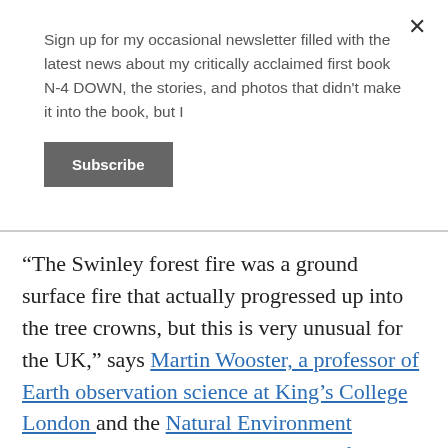Sign up for my occasional newsletter filled with the latest news about my critically acclaimed first book N-4 DOWN, the stories, and photos that didn't make it into the book, but I
Subscribe
“The Swinley forest fire was a ground surface fire that actually progressed up into the tree crowns, but this is very unusual for the UK,” says Martin Wooster, a professor of Earth observation science at King’s College London and the Natural Environment Research Council’s National Centre for Earth Observation.